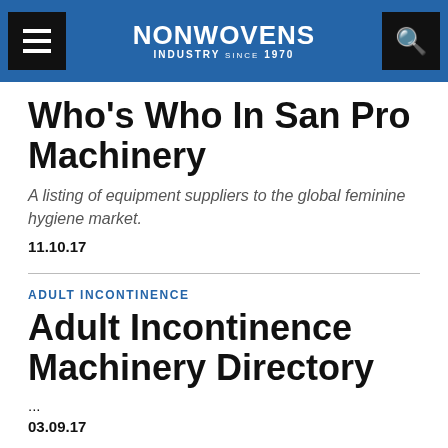NONWOVENS INDUSTRY
Who's Who In San Pro Machinery
A listing of equipment suppliers to the global feminine hygiene market.
11.10.17
ADULT INCONTINENCE
Adult Incontinence Machinery Directory
...
03.09.17